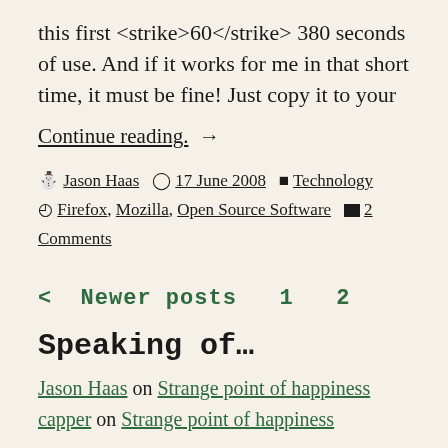this first <strike>60</strike> 380 seconds of use. And if it works for me in that short time, it must be fine! Just copy it to your
Continue reading. →
By Jason Haas  🕐 17 June 2008  📁 Technology  🏷 Firefox, Mozilla, Open Source Software  💬 2 Comments
< Newer posts  1  2
Speaking of…
Jason Haas on Strange point of happiness
capper on Strange point of happiness